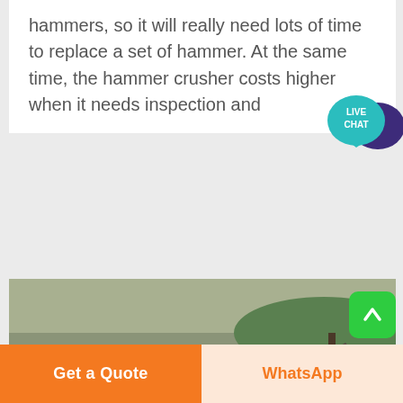hammers, so it will really need lots of time to replace a set of hammer. At the same time, the hammer crusher costs higher when it needs inspection and
[Figure (photo): Industrial quarry/crushing plant site with conveyor belts, steel structures, dust/smoke in the air, and three workers standing on a platform in the foreground.]
Difference Between
Get a Quote | WhatsApp